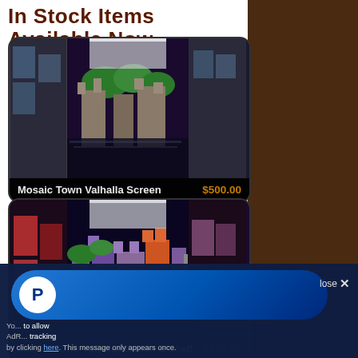In Stock Items Available Now
[Figure (photo): Product photo of Mosaic Town Valhalla Screen - a folding tabletop game screen with medieval/fantasy painted artwork showing a town with castle towers and buildings. Dark background with reflective surface.]
Mosaic Town Valhalla Screen   $500.00
[Figure (photo): Product photo of Mosaic Town Valhalla Screen & Shelf - similar folding tabletop screen with colorful painted medieval town artwork in purple, red and green hues. Dark background.]
Mosaic Town Valhalla Screen & Shelf   $542.00
You allow AdR... tracking by clicking here. This message only appears once.